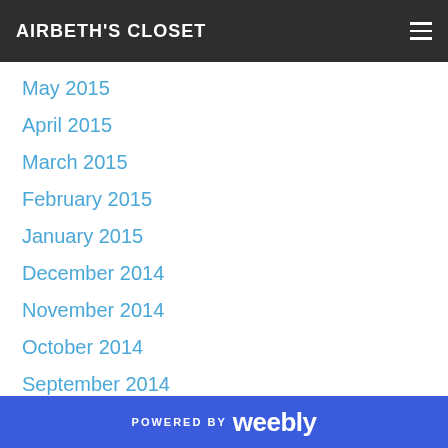AIRBETH'S CLOSET
May 2015
April 2015
March 2015
February 2015
January 2015
December 2014
November 2014
October 2014
September 2014
August 2014
July 2014
June 2014
May 2014
April 2014
March 2014
POWERED BY weebly